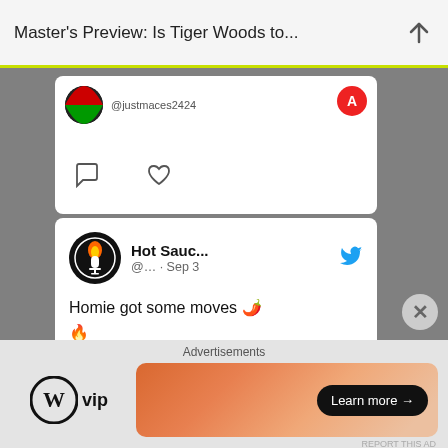Master's Preview: Is Tiger Woods to...
[Figure (screenshot): Partial tweet card at top showing avatar with green/red background, username @justmaces2424, profile letter A badge, comment and heart icons]
[Figure (screenshot): Tweet by Hot Sauc... @... · Sep 3: 'Homie got some moves 🌶️🔥 (🎥: @bleacherreport) #NFL #NFLTwitter #NCAA #collegegameday #CollegeFootball' with Twitter bird icon]
[Figure (screenshot): Partial image at bottom of tweet card showing outdoor scene]
Advertisements
[Figure (logo): WordPress VIP logo]
[Figure (screenshot): Orange/coral gradient ad banner with 'Learn more →' button]